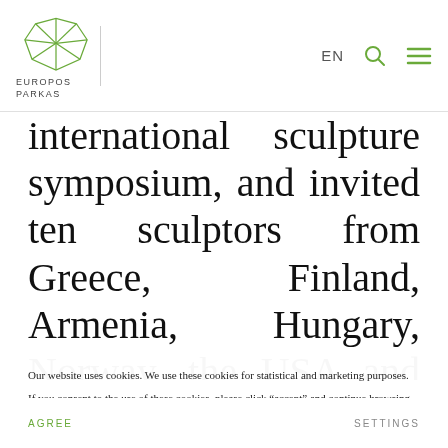EUROPOS PARKAS | EN | Search | Menu
international sculpture symposium, and invited ten sculptors from Greece, Finland, Armenia, Hungary, Norway, the USA and Lithuania, most of them about to graduate from their respective art academies. Since then, such symposiums were held annually, the proceeds of the
Our website uses cookies. We use these cookies for statistical and marketing purposes.
If you consent to the use of these cookies, please click “accept” and continue browsing our website.
AGREE
SETTINGS